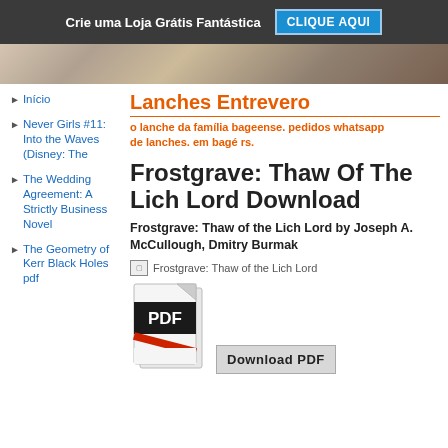Crie uma Loja Grátis Fantástica  CLIQUE AQUI
[Figure (photo): Hero banner image with brownish/food background]
Lanches Entrevero
o lanche da família bageense. pedidos whatsapp de lanches. em bagé rs.
Início
Never Girls #11: Into the Waves (Disney: The
The Wedding Agreement: A Strictly Business Novel
The Geometry of Kerr Black Holes pdf
Frostgrave: Thaw Of The Lich Lord Download
Frostgrave: Thaw of the Lich Lord by Joseph A. McCullough, Dmitry Burmak
[Figure (other): Broken image placeholder: Frostgrave: Thaw of the Lich Lord]
[Figure (other): PDF download icon and Download PDF button]